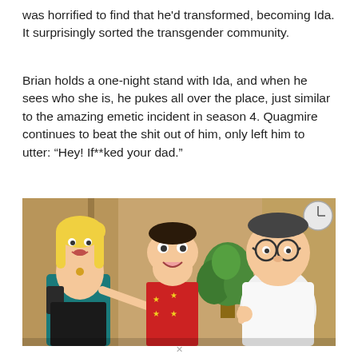was horrified to find that he'd transformed, becoming Ida. It surprisingly sorted the transgender community.
Brian holds a one-night stand with Ida, and when he sees who she is, he pukes all over the place, just similar to the amazing emetic incident in season 4. Quagmire continues to beat the shit out of him, only left him to utter: “Hey! If**ked your dad.”
[Figure (illustration): A cartoon scene from Family Guy showing three animated characters: a blonde woman in a teal top with a purse on the left, Quagmire in a red shirt with yellow stars in the middle, and Peter Griffin in a white shirt on the right, with a green plant and tan walls in the background.]